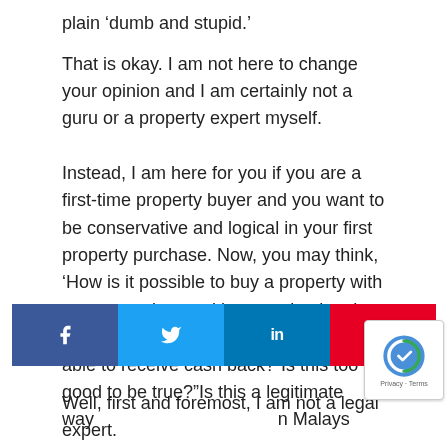plain ‘dumb and stupid.’
That is okay. I am not here to change your opinion and I am certainly not a guru or a property expert myself.
Instead, I am here for you if you are a first-time property buyer and you want to be conservative and logical in your first property purchase. Now, you may think, ‘How is it possible to buy a property with no money down, without paying legal fees and stamp duties and yet being able to receive cash back?”Is this too good to be true?”Is this a legitimate way... in Malays...
[Figure (infographic): Social media share buttons: Facebook (blue), Twitter (light blue), LinkedIn (dark blue), Pinterest (red) with respective icons]
[Figure (other): Google reCAPTCHA badge with logo and Privacy/Terms links]
Well, first and foremost, I am not a legal expert.